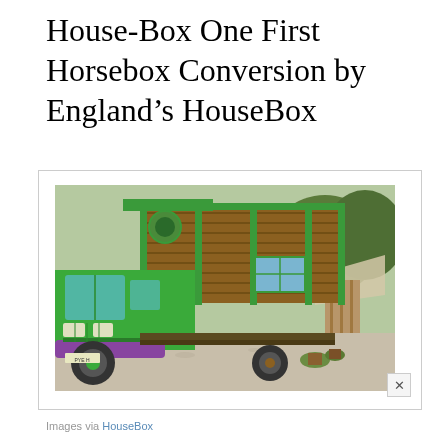House-Box One First Horsebox Conversion by England's HouseBox
[Figure (photo): A converted horsebox truck with green metal framing and purple bumper, wooden slat exterior walls on the living quarters, parked on gravel with trees and a canopy visible in the background.]
Images via HouseBox